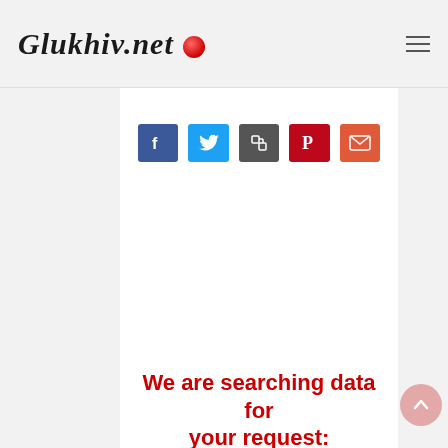Glukhiv.net
[Figure (screenshot): Row of five social share buttons: Facebook (blue), Twitter (light blue), Share/copy (dark grey), Pinterest (dark red), Email (orange-red)]
We are searching data for your request: